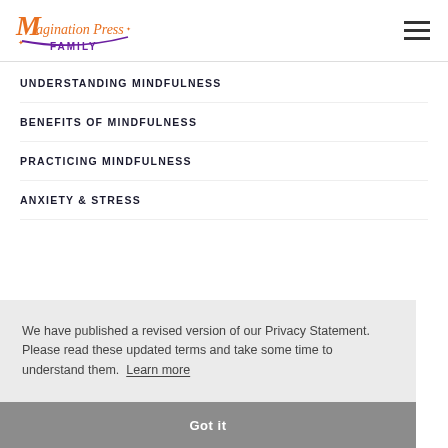[Figure (logo): Magination Press Family logo — orange decorative 'M' with 'agination Press' in orange script and 'FAMILY' in purple below, with a purple arc underline]
UNDERSTANDING MINDFULNESS
BENEFITS OF MINDFULNESS
PRACTICING MINDFULNESS
ANXIETY & STRESS
We have published a revised version of our Privacy Statement. Please read these updated terms and take some time to understand them.  Learn more
Got it